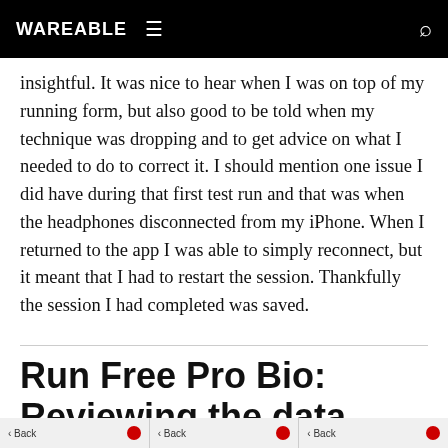WAREABLE
insightful. It was nice to hear when I was on top of my running form, but also good to be told when my technique was dropping and to get advice on what I needed to do to correct it. I should mention one issue I did have during that first test run and that was when the headphones disconnected from my iPhone. When I returned to the app I was able to simply reconnect, but it meant that I had to restart the session. Thankfully the session I had completed was saved.
Run Free Pro Bio: Reviewing the data
Back | Back | Back